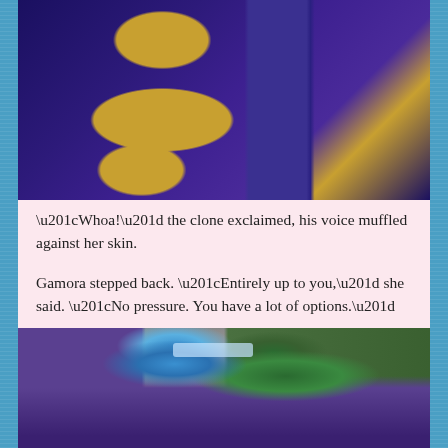[Figure (screenshot): Top portion of a video game screenshot showing characters in purple and gold costumes against a gray wall background]
“Whoa!” the clone exclaimed, his voice muffled against her skin.
Gamora stepped back. “Entirely up to you,” she said. “No pressure. You have a lot of options.”
[Figure (screenshot): Video game screenshot showing a blue-haired character with visor facing a green-skinned character with green hair, both in a gray room. The green character's back is visible showing a patterned suit.]